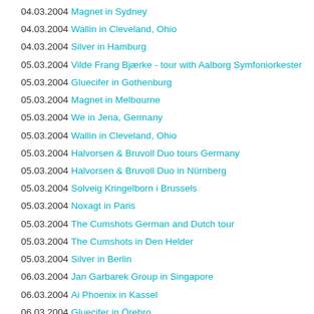04.03.2004 Magnet in Sydney
04.03.2004 Wallin in Cleveland, Ohio
04.03.2004 Silver in Hamburg
05.03.2004 Vilde Frang Bjærke - tour with Aalborg Symfoniorkester
05.03.2004 Gluecifer in Gothenburg
05.03.2004 Magnet in Melbourne
05.03.2004 We in Jena, Germany
05.03.2004 Wallin in Cleveland, Ohio
05.03.2004 Halvorsen & Bruvoll Duo tours Germany
05.03.2004 Halvorsen & Bruvoll Duo in Nürnberg
05.03.2004 Solveig Kringelborn i Brussels
05.03.2004 Noxagt in Paris
05.03.2004 The Cumshots German and Dutch tour
05.03.2004 The Cumshots in Den Helder
05.03.2004 Silver in Berlin
06.03.2004 Jan Garbarek Group in Singapore
06.03.2004 Ai Phoenix in Kassel
06.03.2004 Gluecifer in Örebro
06.03.2004 Magnet in Melbourne
06.03.2004 We in Dresden
06.03.2004 Wallin in Cleveland, Ohio
06.03.2004 Wallin/Bjørnsgård in Bremen, Germany
06.03.2004 Melodi Grand Prix 2004